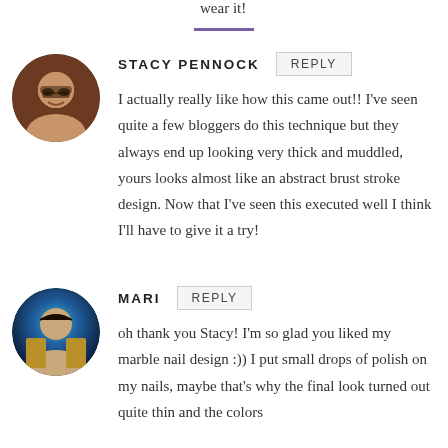wear it!
STACY PENNOCK  REPLY
I actually really like how this came out!! I've seen quite a few bloggers do this technique but they always end up looking very thick and muddled, yours looks almost like an abstract brust stroke design. Now that I've seen this executed well I think I'll have to give it a try!
MARI  REPLY
oh thank you Stacy! I'm so glad you liked my marble nail design :)) I put small drops of polish on my nails, maybe that's why the final look turned out quite thin and the colors didn't mix in the same way they normally would